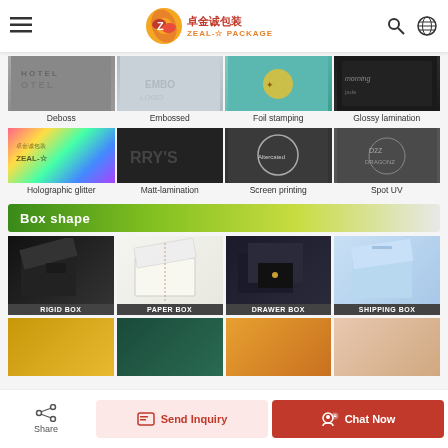ZEAL-X Package - Zeal Jin Cheng Packaging
[Figure (photo): Deboss finishing effect on packaging material]
Deboss
[Figure (photo): Embossed finishing effect showing raised LOGO lettering]
Embossed
[Figure (photo): Foil stamping finishing effect on teal/turquoise packaging]
Foil stamping
[Figure (photo): Glossy lamination finishing effect on dark packaging]
Glossy lamination
[Figure (photo): Holographic glitter finishing effect on packaging with ZEAL-X logo]
Holographic glitter
[Figure (photo): Matt-lamination finishing effect showing RRY'S text on dark background]
Matt-lamination
[Figure (photo): Screen printing finishing effect with decorative circular design]
Screen printing
[Figure (photo): Spot UV finishing effect showing D2Z dragonz logo]
Spot UV
Box shape
[Figure (photo): Rigid box - black rigid gift box open]
[Figure (photo): Paper box - white paper box with ribbon]
[Figure (photo): Drawer box - decorative drawer style box]
[Figure (photo): Shipping box - light blue shipping box open]
[Figure (photo): Partial view of gold/yellow box]
[Figure (photo): Partial view of dark teal box]
[Figure (photo): Partial view of orange/amber bottle packaging]
[Figure (photo): Partial view of floral/illustrated packaging]
Share | Send Inquiry | Chat Now